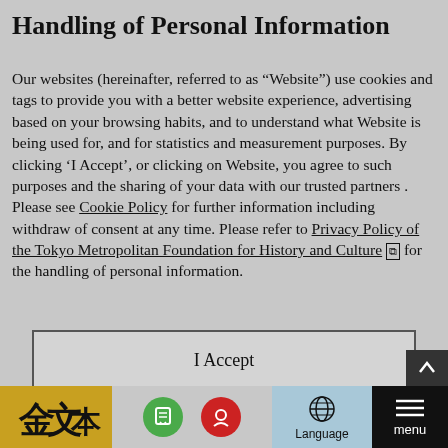Handling of Personal Information
Our websites (hereinafter, referred to as “Website”) use cookies and tags to provide you with a better website experience, advertising based on your browsing habits, and to understand what Website is being used for, and for statistics and measurement purposes. By clicking ‘I Accept’, or clicking on Website, you agree to such purposes and the sharing of your data with our trusted partners . Please see Cookie Policy for further information including withdraw of consent at any time. Please refer to Privacy Policy of the Tokyo Metropolitan Foundation for History and Culture ⧉ for the handling of personal information.
I Accept
[Figure (infographic): Website footer bar with logo (golden background with Japanese calligraphy figures), two circular icons (green and red), a Language button with globe icon, a dark menu button, and a scroll-to-top arrow button.]